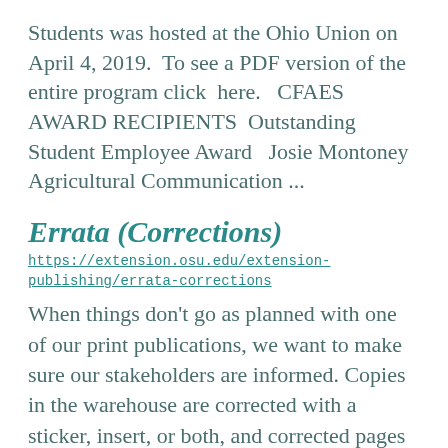Students was hosted at the Ohio Union on April 4, 2019.  To see a PDF version of the entire program click  here.   CFAES AWARD RECIPIENTS  Outstanding Student Employee Award   Josie Montoney  Agricultural Communication ...
Errata (Corrections)
https://extension.osu.edu/extension-publishing/errata-corrections
When things don't go as planned with one of our print publications, we want to make sure our stakeholders are informed. Copies in the warehouse are corrected with a sticker, insert, or both, and corrected pages